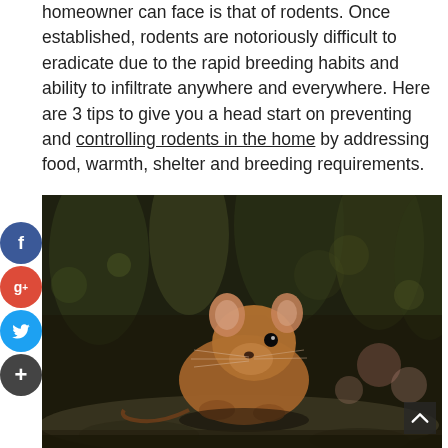homeowner can face is that of rodents. Once established, rodents are notoriously difficult to eradicate due to the rapid breeding habits and ability to infiltrate anywhere and everywhere. Here are 3 tips to give you a head start on preventing and controlling rodents in the home by addressing food, warmth, shelter and breeding requirements.
[Figure (photo): A brown mouse/rodent photographed close-up on a rocky surface with a blurred forest background. Social media sharing buttons (Facebook, Google+, Twitter, and a plus button) are visible on the left side.]